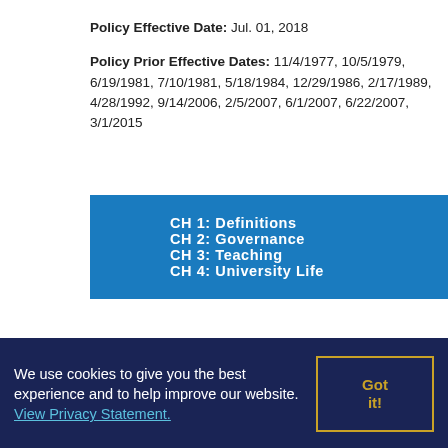Policy Effective Date: Jul. 01, 2018
Policy Prior Effective Dates: 11/4/1977, 10/5/1979, 6/19/1981, 7/10/1981, 5/18/1984, 12/29/1986, 2/17/1989, 4/28/1992, 9/14/2006, 2/5/2007, 6/1/2007, 6/22/2007, 3/1/2015
CH 1: Definitions
CH 2: Governance
CH 3: Teaching
CH 4: University Life
We use cookies to give you the best experience and to help improve our website. View Privacy Statement.